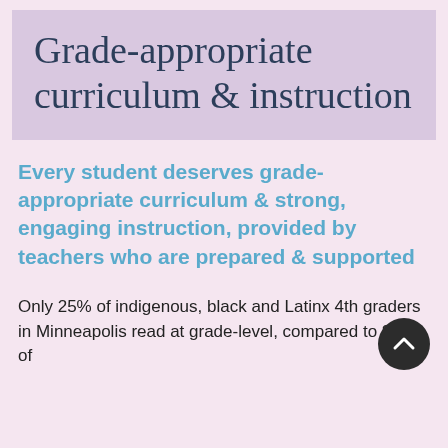Grade-appropriate curriculum & instruction
Every student deserves grade-appropriate curriculum & strong, engaging instruction, provided by teachers who are prepared & supported
Only 25% of indigenous, black and Latinx 4th graders in Minneapolis read at grade-level, compared to 80% of